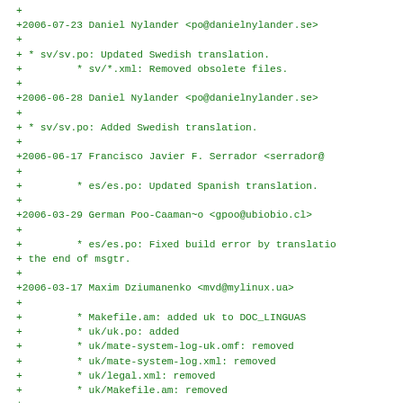+
+2006-07-23 Daniel Nylander <po@danielnylander.se>
+
+ * sv/sv.po: Updated Swedish translation.
+         * sv/*.xml: Removed obsolete files.
+
+2006-06-28 Daniel Nylander <po@danielnylander.se>
+
+ * sv/sv.po: Added Swedish translation.
+
+2006-06-17 Francisco Javier F. Serrador <serrador@
+
+         * es/es.po: Updated Spanish translation.
+
+2006-03-29 German Poo-Caaman~o <gpoo@ubiobio.cl>
+
+         * es/es.po: Fixed build error by translatio
+ the end of msgtr.
+
+2006-03-17 Maxim Dziumanenko <mvd@mylinux.ua>
+
+         * Makefile.am: added uk to DOC_LINGUAS
+         * uk/uk.po: added
+         * uk/mate-system-log-uk.omf: removed
+         * uk/mate-system-log.xml: removed
+         * uk/legal.xml: removed
+         * uk/Makefile.am: removed
+
+2005-12-05 Emmanuele Bassi <ebassi@cvs.mate.org>
+